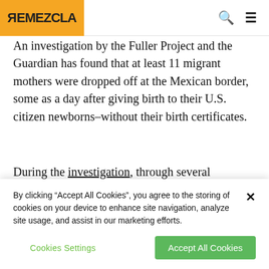REMEZCLA
An investigation by the Fuller Project and the Guardian has found that at least 11 migrant mothers were dropped off at the Mexican border, some as a day after giving birth to their U.S. citizen newborns–without their birth certificates.
During the investigation, through several conversations with immigration attorneys who work with asylum seekers and a review of hospital records and legal documents, multiple U.S. citizen newborns were sent to
By clicking "Accept All Cookies", you agree to the storing of cookies on your device to enhance site navigation, analyze site usage, and assist in our marketing efforts.
Cookies Settings
Accept All Cookies